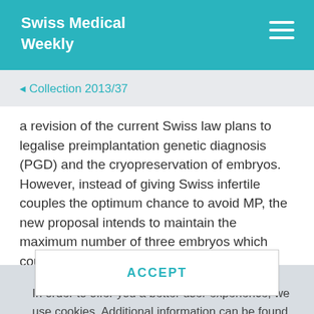Swiss Medical Weekly
◂ Collection 2013/37
a revision of the current Swiss law plans to legalise preimplantation genetic diagnosis (PGD) and the cryopreservation of embryos. However, instead of giving Swiss infertile couples the optimum chance to avoid MP, the new proposal intends to maintain the maximum number of three embryos which could
In order to offer you a better user experience, we use cookies. Additional information can be found here..
ACCEPT